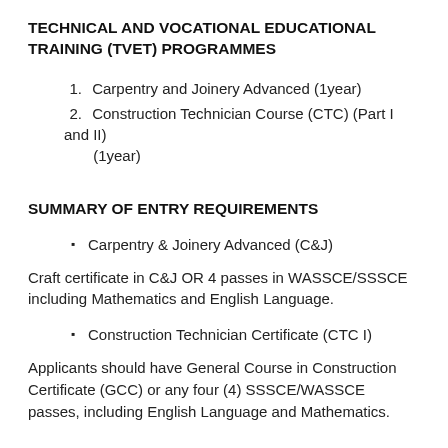TECHNICAL AND VOCATIONAL EDUCATIONAL TRAINING (TVET) PROGRAMMES
Carpentry and Joinery Advanced (1year)
Construction Technician Course (CTC) (Part I and II) (1year)
SUMMARY OF ENTRY REQUIREMENTS
Carpentry & Joinery Advanced (C&J)
Craft certificate in C&J OR 4 passes in WASSCE/SSSCE including Mathematics and English Language.
Construction Technician Certificate (CTC I)
Applicants should have General Course in Construction Certificate (GCC) or any four (4) SSSCE/WASSCE passes, including English Language and Mathematics.